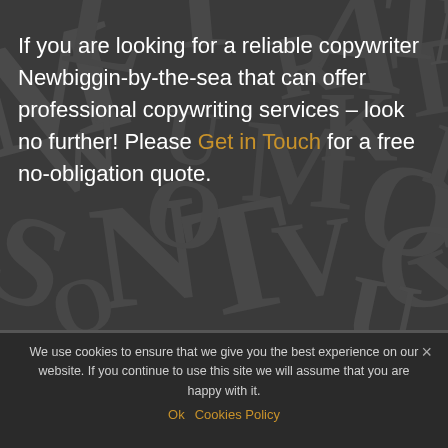[Figure (illustration): Dark grey background with scattered large typographic letters in various orientations and sizes forming a textured pattern]
If you are looking for a reliable copywriter Newbiggin-by-the-sea that can offer professional copywriting services – look no further! Please Get in Touch for a free no-obligation quote.
We use cookies to ensure that we give you the best experience on our website. If you continue to use this site we will assume that you are happy with it.
Ok   Cookies Policy
ABOUT NICADA DIGITAL, NEWBIGGIN-BY-THE-SEA